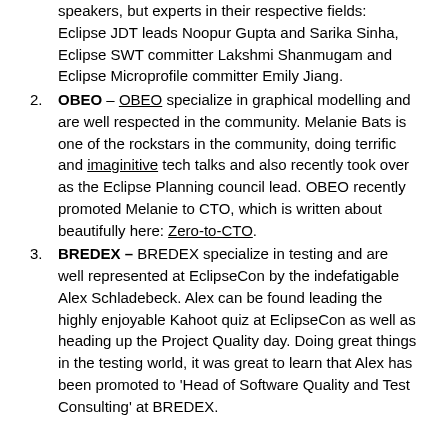speakers, but experts in their respective fields: Eclipse JDT leads Noopur Gupta and Sarika Sinha, Eclipse SWT committer Lakshmi Shanmugam and Eclipse Microprofile committer Emily Jiang.
OBEO – OBEO specialize in graphical modelling and are well respected in the community. Melanie Bats is one of the rockstars in the community, doing terrific and imaginitive tech talks and also recently took over as the Eclipse Planning council lead. OBEO recently promoted Melanie to CTO, which is written about beautifully here: Zero-to-CTO.
BREDEX – BREDEX specialize in testing and are well represented at EclipseCon by the indefatigable Alex Schladebeck. Alex can be found leading the highly enjoyable Kahoot quiz at EclipseCon as well as heading up the Project Quality day. Doing great things in the testing world, it was great to learn that Alex has been promoted to 'Head of Software Quality and Test Consulting' at BREDEX.